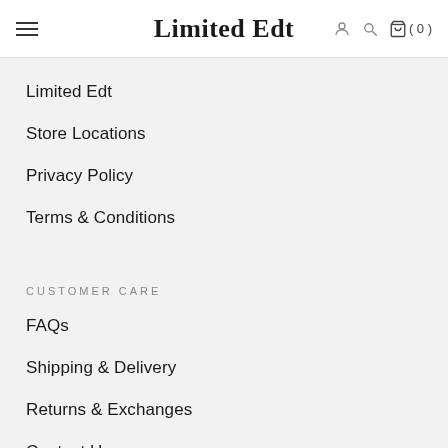Limited Edt
Limited Edt
Store Locations
Privacy Policy
Terms & Conditions
CUSTOMER CARE
FAQs
Shipping & Delivery
Returns & Exchanges
Contact Us
Delivery Tracking